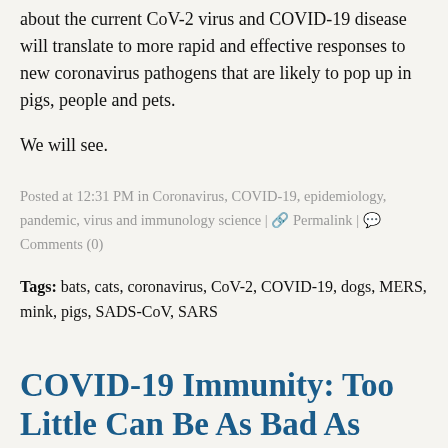about the current CoV-2 virus and COVID-19 disease will translate to more rapid and effective responses to new coronavirus pathogens that are likely to pop up in pigs, people and pets.
We will see.
Posted at 12:31 PM in Coronavirus, COVID-19, epidemiology, pandemic, virus and immunology science | 🔗 Permalink | 💬 Comments (0)
Tags: bats, cats, coronavirus, CoV-2, COVID-19, dogs, MERS, mink, pigs, SADS-CoV, SARS
COVID-19 Immunity: Too Little Can Be As Bad As